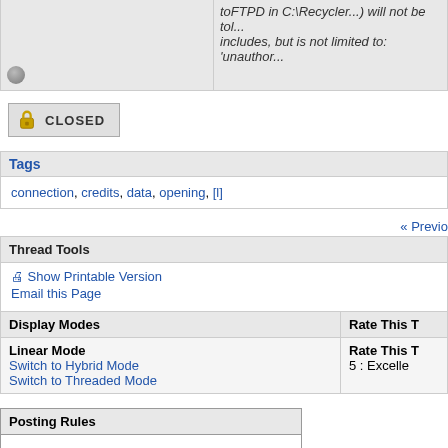toFTPD in C:\Recycler...) will not be tolerated. This includes, but is not limited to: 'unauthor...
[Figure (other): Closed/locked thread button with padlock icon and text CLOSED]
Tags
connection, credits, data, opening, [l]
« Previo
Thread Tools
Show Printable Version
Email this Page
Display Modes | Rate This T
Linear Mode
Switch to Hybrid Mode
Switch to Threaded Mode
Rate This T
5 : Excelle
Posting Rules
You may not post new threads
You may not post replies
You may not post attachments
You may not edit your posts